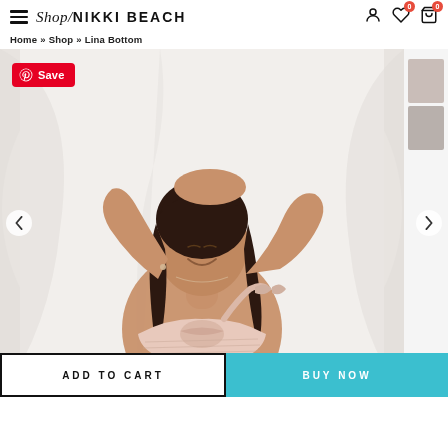Shop Nikki Beach — Home » Shop » Lina Bottom
[Figure (photo): Woman in a blush pink striped halter bikini top, arms raised above head, smiling with eyes closed, against a white draped fabric background. Pinterest Save button overlay in top-left corner.]
ADD TO CART
BUY NOW